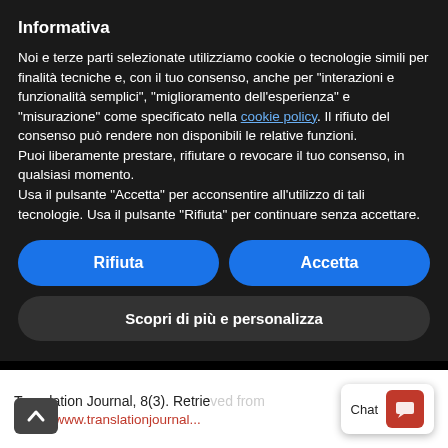Informativa
Noi e terze parti selezionate utilizziamo cookie o tecnologie simili per finalità tecniche e, con il tuo consenso, anche per “interazioni e funzionalità semplici”, “miglioramento dell’esperienza” e “misurazione” come specificato nella cookie policy. Il rifiuto del consenso può rendere non disponibili le relative funzioni.
Puoi liberamente prestare, rifiutare o revocare il tuo consenso, in qualsiasi momento.
Usa il pulsante “Accetta” per acconsentire all’utilizzo di tali tecnologie. Usa il pulsante “Rifiuta” per continuare senza accettare.
Rifiuta
Accetta
Scopri di più e personalizza
Translation Journal, 8(3). Retrieved from https://www.translationjournal...